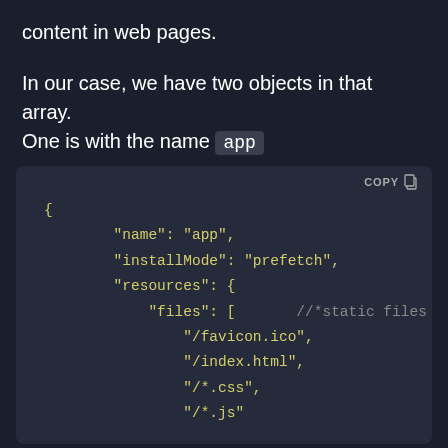content in web pages.
In our case, we have two objects in that array. One is with the name app
[Figure (screenshot): Dark-themed code block showing JSON configuration with name, installMode, resources, and files fields. A COPY button appears in the top-right corner.]